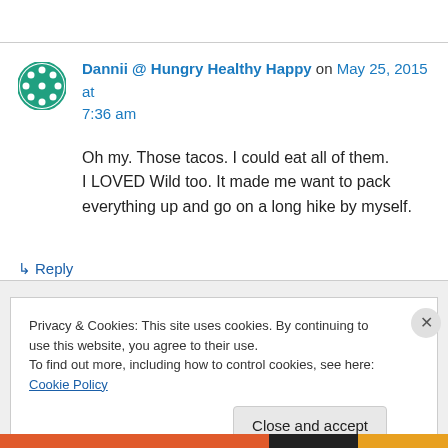Dannii @ Hungry Healthy Happy on May 25, 2015 at 7:36 am
Oh my. Those tacos. I could eat all of them. I LOVED Wild too. It made me want to pack everything up and go on a long hike by myself.
↳ Reply
Privacy & Cookies: This site uses cookies. By continuing to use this website, you agree to their use.
To find out more, including how to control cookies, see here: Cookie Policy
Close and accept